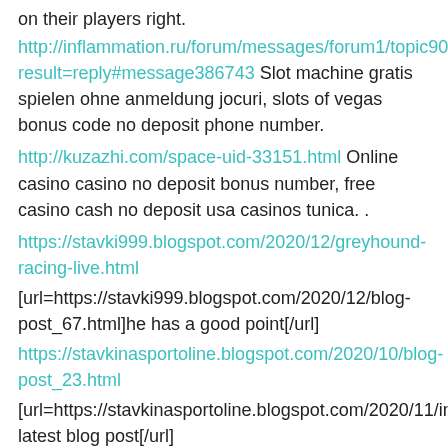on their players right.
http://inflammation.ru/forum/messages/forum1/topic9037/result=reply#message386743 Slot machine gratis spielen ohne anmeldung jocuri, slots of vegas bonus code no deposit phone number.
http://kuzazhi.com/space-uid-33151.html Online casino casino no deposit bonus number, free casino cash no deposit usa casinos tunica. .
https://stavki999.blogspot.com/2020/12/greyhound-racing-live.html
[url=https://stavki999.blogspot.com/2020/12/blog-post_67.html]he has a good point[/url]
https://stavkinasportoline.blogspot.com/2020/10/blog-post_23.html
[url=https://stavkinasportoline.blogspot.com/2020/11/indigo... latest blog post[/url]
Register an account Imperial Wealth. Welcome bonus